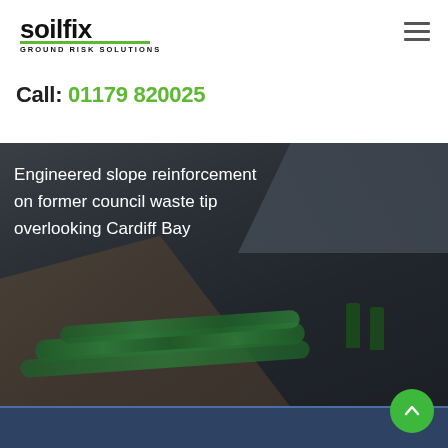[Figure (logo): Soilfix Ground Risk Solutions logo — bold black text 'soilfix' with green highlight and tagline 'GROUND RISK SOLUTIONS']
Call: 01179 820025
[Figure (photo): Aerial/ground-level photograph of engineered slope reinforcement work on a former council waste tip overlooking Cardiff Bay. Workers in high-vis gear visible on slope with green geotextile tubes/gabions installed along the slope. Brown earthwork path visible in foreground.]
Engineered slope reinforcement on former council waste tip overlooking Cardiff Bay